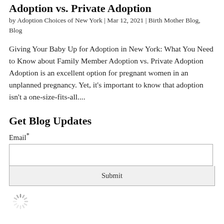Adoption vs. Private Adoption
by Adoption Choices of New York | Mar 12, 2021 | Birth Mother Blog, Blog
Giving Your Baby Up for Adoption in New York: What You Need to Know about Family Member Adoption vs. Private Adoption Adoption is an excellent option for pregnant women in an unplanned pregnancy. Yet, it's important to know that adoption isn't a one-size-fits-all....
Get Blog Updates
Email*
[Figure (other): Loading spinner icon]